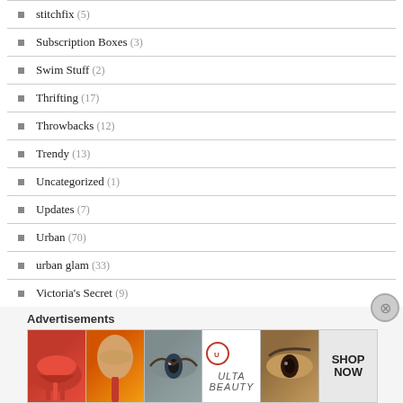stitchfix (5)
Subscription Boxes (3)
Swim Stuff (2)
Thrifting (17)
Throwbacks (12)
Trendy (13)
Uncategorized (1)
Updates (7)
Urban (70)
urban glam (33)
Victoria's Secret (9)
Advertisements
[Figure (photo): ULTA beauty advertisement banner with makeup imagery including lips, brush, eyes, ULTA logo, brows, and SHOP NOW text]